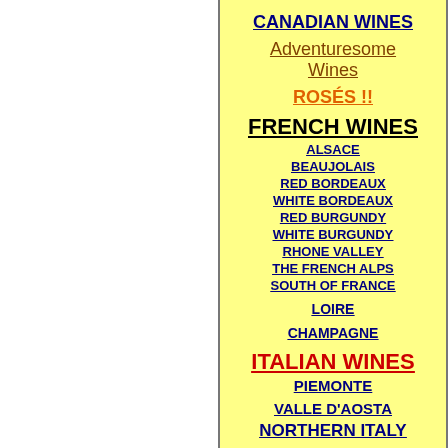CANADIAN WINES
Adventuresome Wines
ROSÉS !!
FRENCH WINES
ALSACE
BEAUJOLAIS
RED BORDEAUX
WHITE BORDEAUX
RED BURGUNDY
WHITE BURGUNDY
RHONE VALLEY
THE FRENCH ALPS
SOUTH OF FRANCE
LOIRE
CHAMPAGNE
ITALIAN WINES
PIEMONTE
VALLE D'AOSTA
NORTHERN ITALY
1996 California C...
1996 FRENCH RE...
CALIFORNIA vs IT...
WEST COAST PINO...
AUSSIE SHIRAZ TA...
FRENCH CHAMPA...
1996 BORDEAUX (...
CABERNET-INFLU...
CABERNETS OF T...
THE VINO-FINO...
THE VINO-FINO T...
VINO FINO: 1999 ...
VINO FINO: 1996 ...
VINO FINO: CAR...
VINO FINO: 1984...